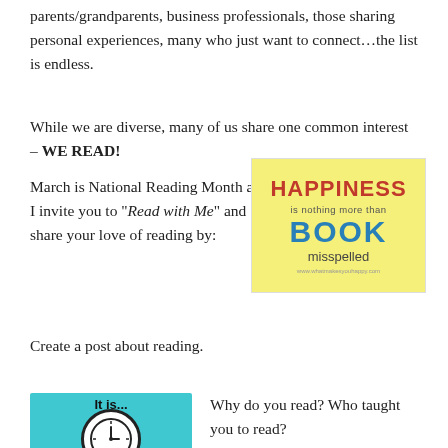parents/grandparents, business professionals, those sharing personal experiences, many who just want to connect...the list is endless.
While we are diverse, many of us share one common interest – WE READ!
[Figure (illustration): Yellow background image with text: HAPPINESS is nothing more than BOOK misspelled]
March is National Reading Month and I invite you to “Read with Me” and share your love of reading by:
Create a post about reading.
[Figure (illustration): Cyan/teal background image with bold text 'It is...' and a clock face below]
Why do you read? Who taught you to read?